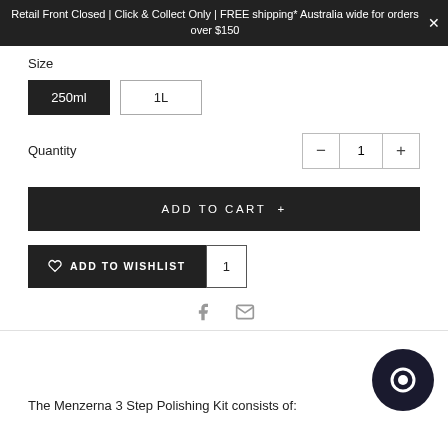Retail Front Closed | Click & Collect Only | FREE shipping* Australia wide for orders over $150
Size
250ml  1L
Quantity  1
ADD TO CART +
♡ ADD TO WISHLIST  1
The Menzerna 3 Step Polishing Kit consists of: